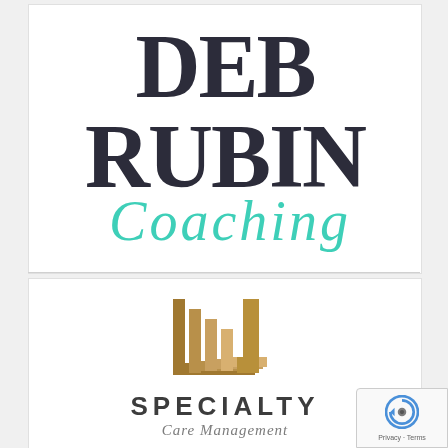[Figure (logo): Deb Rubin Coaching logo: large serif text 'DEB RUBIN' in dark navy/charcoal, with 'Coaching' in teal cursive script below]
[Figure (logo): Specialty Care Management logo: golden/bronze layered L-shaped geometric mark above text 'SPECIALTY' in bold dark gray uppercase and 'Care Management' in smaller italic below]